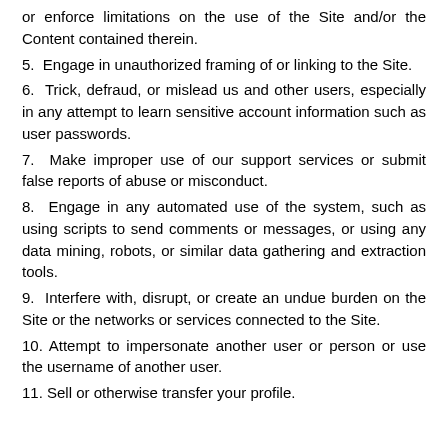or enforce limitations on the use of the Site and/or the Content contained therein.
5. Engage in unauthorized framing of or linking to the Site.
6. Trick, defraud, or mislead us and other users, especially in any attempt to learn sensitive account information such as user passwords.
7. Make improper use of our support services or submit false reports of abuse or misconduct.
8. Engage in any automated use of the system, such as using scripts to send comments or messages, or using any data mining, robots, or similar data gathering and extraction tools.
9. Interfere with, disrupt, or create an undue burden on the Site or the networks or services connected to the Site.
10. Attempt to impersonate another user or person or use the username of another user.
11. Sell or otherwise transfer your profile.